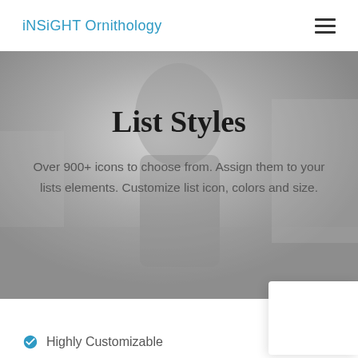iNSiGHT Ornithology
List Styles
Over 900+ icons to choose from. Assign them to your lists elements. Customize list icon, colors and size.
[Figure (photo): Blurred grayscale street photo used as hero background]
Highly Customizable